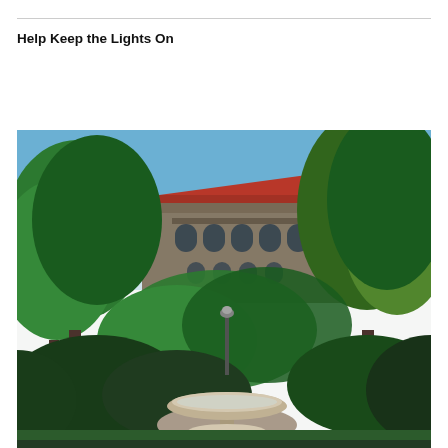Help Keep the Lights On
[Figure (photo): Outdoor photograph of a historic university building with a red tile roof and Romanesque arched windows, partially visible behind lush green trees, with a stone fountain in the foreground and a clear blue sky above.]